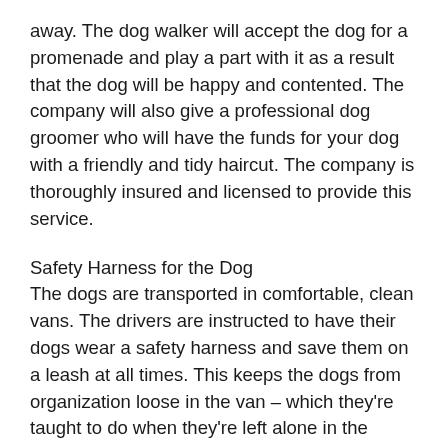away. The dog walker will accept the dog for a promenade and play a part with it as a result that the dog will be happy and contented. The company will also give a professional dog groomer who will have the funds for your dog with a friendly and tidy haircut. The company is thoroughly insured and licensed to provide this service.
Safety Harness for the Dog
The dogs are transported in comfortable, clean vans. The drivers are instructed to have their dogs wear a safety harness and save them on a leash at all times. This keeps the dogs from organization loose in the van – which they're taught to do when they're left alone in the vehicle. The harness is a simple, lightweight, and deeply versatile fragment of equipment that can be worn by any dog of any size or breed. It features a durable, adjustable, and